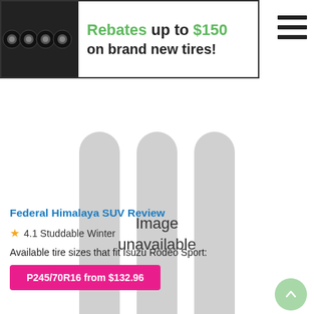[Figure (other): Promotional banner showing four black car wheels/tires on the left, with text 'Rebates up to $150 on brand new tires!' on the right]
[Figure (other): Image unavailable placeholder showing three grey rounded rectangles arranged like tires with text 'Image unavailable' in the center]
Federal Himalaya SUV Review
4.1 Studdable Winter
Available tire sizes that fit Isuzu Rodeo Sport:
P245/70R16 from $132.96